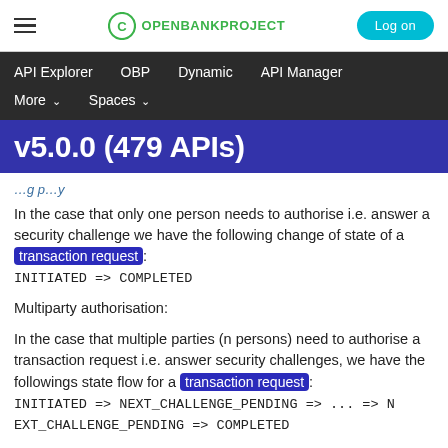OPENBANKPROJECT  Log on
API Explorer  OBP  Dynamic  API Manager  More  Spaces
v5.0.0 (479 APIs)
In the case that only one person needs to authorise i.e. answer a security challenge we have the following change of state of a transaction request: INITIATED => COMPLETED
Multiparty authorisation:
In the case that multiple parties (n persons) need to authorise a transaction request i.e. answer security challenges, we have the followings state flow for a transaction request: INITIATED => NEXT_CHALLENGE_PENDING => ... => NEXT_CHALLENGE_PENDING => COMPLETED